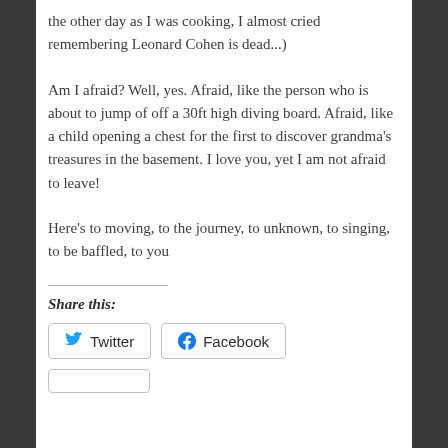the other day as I was cooking, I almost cried remembering Leonard Cohen is dead...)
Am I afraid? Well, yes. Afraid, like the person who is about to jump of off a 30ft high diving board. Afraid, like a child opening a chest for the first to discover grandma's treasures in the basement. I love you, yet I am not afraid to leave!
Here's to moving, to the journey, to unknown, to singing, to be baffled, to you
Share this:
Twitter  Facebook